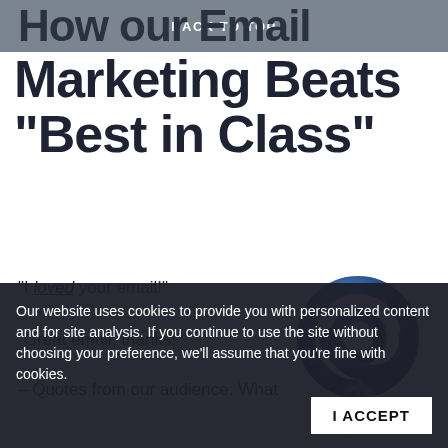BACK TO TOP
How our Email Marketing Beats “Best in Class”
“I loved your email!”
“Great email, thanks!”
– Quotes from our audience. What
[Figure (illustration): 3D blue metallic @ symbol with a grey dollar sign shadow beneath it]
Our website uses cookies to provide you with personalized content and for site analysis. If you continue to use the site without choosing your preference, we’ll assume that you’re fine with cookies.
I ACCEPT